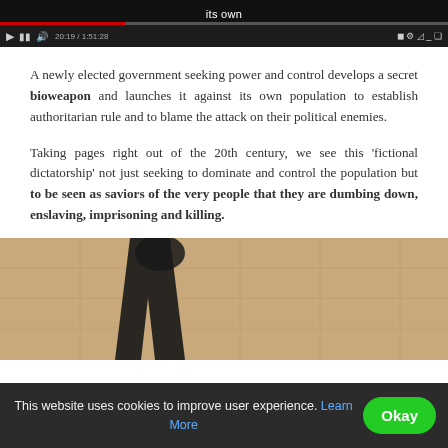[Figure (screenshot): Video player screenshot showing title 'its own' with progress bar (red fill ~25%) and playback controls. Time shown: 20:19 / 1:51:28]
A newly elected government seeking power and control develops a secret bioweapon and launches it against its own population to establish authoritarian rule and to blame the attack on their political enemies.
Taking pages right out of the 20th century, we see this 'fictional dictatorship' not just seeking to dominate and control the population but to be seen as saviors of the very people that they are dumbing down, enslaving, imprisoning and killing.
[Figure (photo): Photo showing a dark silhouette of a person's legs/lower body against a warm beige/tan background with grid-like window structure visible]
This website uses cookies to improve user experience. Learn More